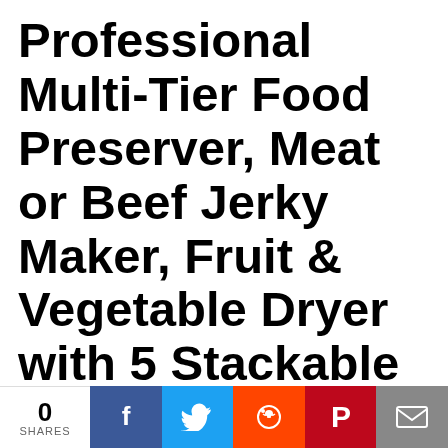Professional Multi-Tier Food Preserver, Meat or Beef Jerky Maker, Fruit & Vegetable Dryer with 5 Stackable Trays, High-Heat Circulation - PKFD12
NutriChef Model : PKFD12Countertop Food DehydratorElectric Countertop Food Dehydrator, Food Preserver (White) Features:Multi-Tier Kitchen